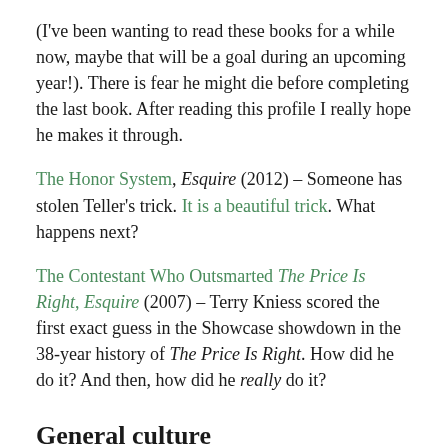(I've been wanting to read these books for a while now, maybe that will be a goal during an upcoming year!). There is fear he might die before completing the last book. After reading this profile I really hope he makes it through.
The Honor System, Esquire (2012) – Someone has stolen Teller's trick. It is a beautiful trick. What happens next?
The Contestant Who Outsmarted The Price Is Right, Esquire (2007) – Terry Kniess scored the first exact guess in the Showcase showdown in the 38-year history of The Price Is Right. How did he do it? And then, how did he really do it?
General culture